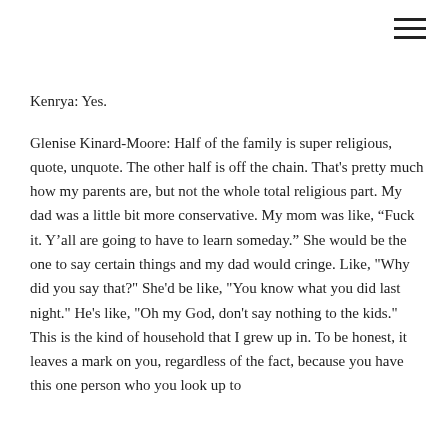[Figure (other): Hamburger menu icon (three horizontal lines) in top-right corner]
Kenrya: Yes.
Glenise Kinard-Moore: Half of the family is super religious, quote, unquote. The other half is off the chain. That's pretty much how my parents are, but not the whole total religious part. My dad was a little bit more conservative. My mom was like, “Fuck it. Y’all are going to have to learn someday.” She would be the one to say certain things and my dad would cringe. Like, "Why did you say that?" She'd be like, "You know what you did last night." He's like, "Oh my God, don't say nothing to the kids." This is the kind of household that I grew up in. To be honest, it leaves a mark on you, regardless of the fact, because you have this one person who you look up to